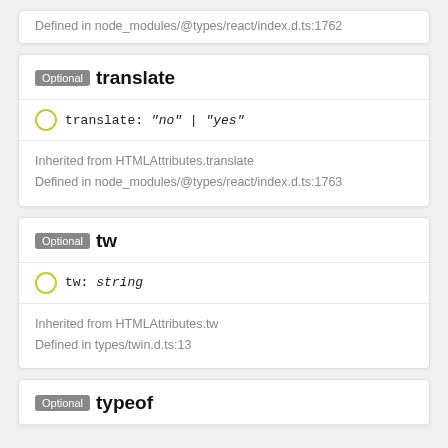Defined in node_modules/@types/react/index.d.ts:1762
Optional translate
translate: "no" | "yes"
Inherited from HTMLAttributes.translate
Defined in node_modules/@types/react/index.d.ts:1763
Optional tw
tw: string
Inherited from HTMLAttributes.tw
Defined in types/twin.d.ts:13
Optional typeof